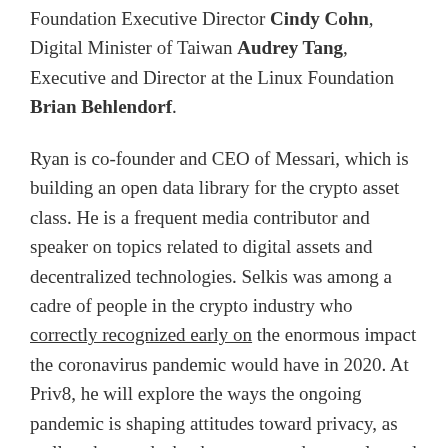Foundation Executive Director Cindy Cohn, Digital Minister of Taiwan Audrey Tang, Executive and Director at the Linux Foundation Brian Behlendorf.
Ryan is co-founder and CEO of Messari, which is building an open data library for the crypto asset class. He is a frequent media contributor and speaker on topics related to digital assets and decentralized technologies. Selkis was among a cadre of people in the crypto industry who correctly recognized early on the enormous impact the coronavirus pandemic would have in 2020. At Priv8, he will explore the ways the ongoing pandemic is shaping attitudes toward privacy, as well as the trends that have emerged or accelerated as a result of the global covid crisis.
Ryan will be joined by a roster of speakers on different...